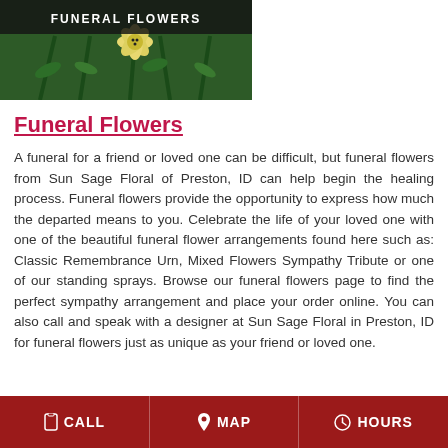[Figure (photo): Funeral flowers banner with dark overlay showing text 'FUNERAL FLOWERS' and floral background with green stems and yellow/white flower]
Funeral Flowers
A funeral for a friend or loved one can be difficult, but funeral flowers from Sun Sage Floral of Preston, ID can help begin the healing process. Funeral flowers provide the opportunity to express how much the departed means to you. Celebrate the life of your loved one with one of the beautiful funeral flower arrangements found here such as: Classic Remembrance Urn, Mixed Flowers Sympathy Tribute or one of our standing sprays. Browse our funeral flowers page to find the perfect sympathy arrangement and place your order online. You can also call and speak with a designer at Sun Sage Floral in Preston, ID for funeral flowers just as unique as your friend or loved one.
CALL  MAP  HOURS